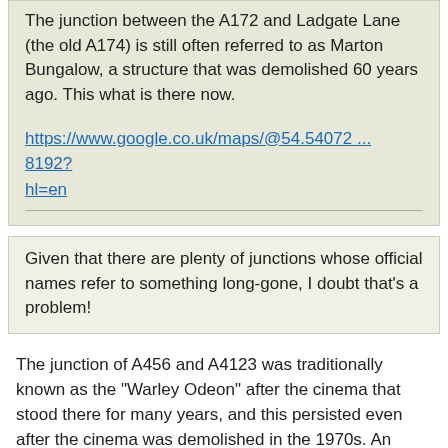The junction between the A172 and Ladgate Lane (the old A174) is still often referred to as Marton Bungalow, a structure that was demolished 60 years ago. This what is there now.
https://www.google.co.uk/maps/@54.54072 ... 8192?hl=en
Given that there are plenty of junctions whose official names refer to something long-gone, I doubt that's a problem!
The junction of A456 and A4123 was traditionally known as the "Warley Odeon" after the cinema that stood there for many years, and this persisted even after the cinema was demolished in the 1970s. An office block now occupies the site, but the junction is now officially signed as "Beech Lanes Cross", an unsatisfactory name at best.
“The quality of any advice anybody has to offer has to be judged against the quality of life they actually lead.” - Douglas Adams.
Did you know there’s more to SABRE than just the Forums?